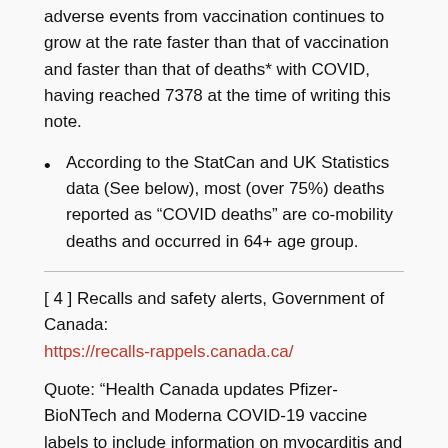adverse events from vaccination continues to grow at the rate faster than that of vaccination and faster than that of deaths* with COVID, having reached 7378 at the time of writing this note.
According to the StatCan and UK Statistics data (See below), most (over 75%) deaths reported as “COVID deaths” are co-mobility deaths and occurred in 64+ age group.
[ 4 ] Recalls and safety alerts, Government of Canada: https://recalls-rappels.canada.ca/
Quote: “Health Canada updates Pfizer-BioNTech and Moderna COVID-19 vaccine labels to include information on myocarditis and pericarditis” and “…to reflect very rare reports of Bell’s Palsy”